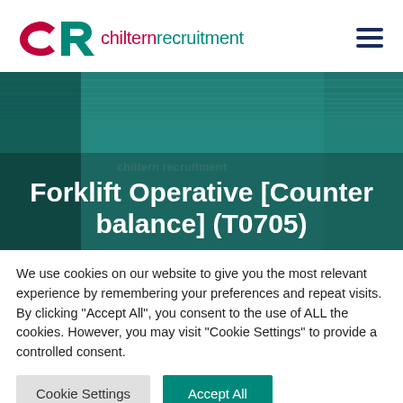[Figure (logo): Chiltern Recruitment logo with CR icon in red and teal, company name in red and teal text]
[Figure (photo): Warehouse/industrial interior background image in teal tone with job title overlay]
Forklift Operative [Counter balance] (T0705)
We use cookies on our website to give you the most relevant experience by remembering your preferences and repeat visits. By clicking "Accept All", you consent to the use of ALL the cookies. However, you may visit "Cookie Settings" to provide a controlled consent.